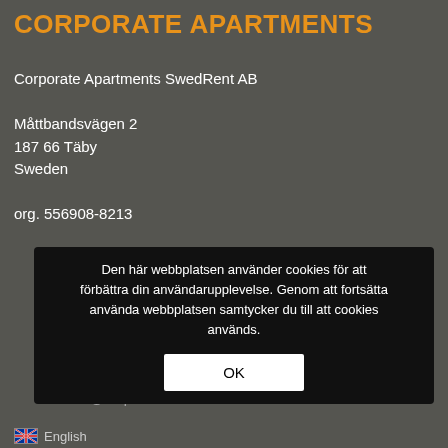CORPORATE APARTMENTS
Corporate Apartments SwedRent AB

Måttbandsvägen 2
187 66 Täby
Sweden

org. 556908-8213
CONTACT US
Phone: +46 10-333 36 35

Mail: info@corporate-a...
Den här webbplatsen använder cookies för att förbättra din användarupplevelse. Genom att fortsätta använda webbplatsen samtycker du till att cookies används.
OK
English